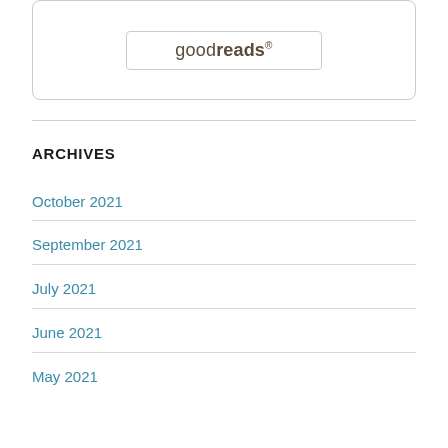[Figure (logo): Goodreads logo inside a rounded rectangle box with border]
ARCHIVES
October 2021
September 2021
July 2021
June 2021
May 2021